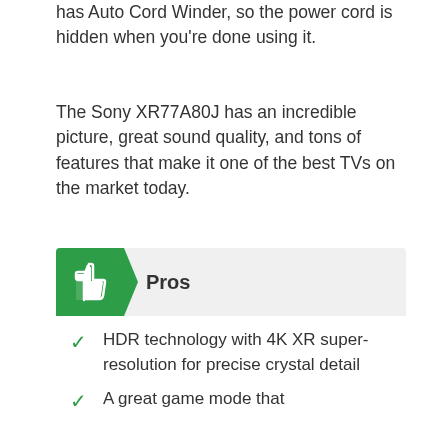has Auto Cord Winder, so the power cord is hidden when you're done using it.
The Sony XR77A80J has an incredible picture, great sound quality, and tons of features that make it one of the best TVs on the market today.
Pros
HDR technology with 4K XR super-resolution for precise crystal detail
A great game mode that